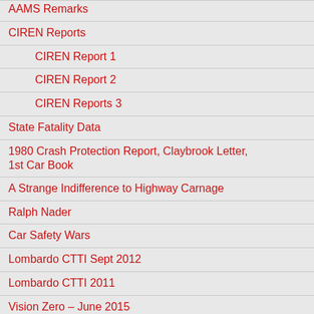AAMS Remarks
CIREN Reports
CIREN Report 1
CIREN Report 2
CIREN Reports 3
State Fatality Data
1980 Crash Protection Report, Claybrook Letter, 1st Car Book
A Strange Indifference to Highway Carnage
Ralph Nader
Car Safety Wars
Lombardo CTTI Sept 2012
Lombardo CTTI 2011
Vision Zero – June 2015
Vision Zero – June 2014
U.S. Recalls 1966 – 2012